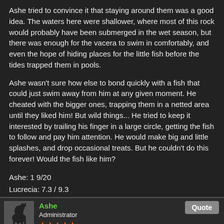Ashe tried to convince it that staying around them was a good idea. The waters here were shallower, where most of this rock would probably have been submerged in the wet season, but there was enough for the vacera to swim in comfortably, and even the hope of hiding places for the little fish before the tides trapped them in pools.
Ashe wasn't sure how else to bond quickly with a fish that could just swim away from him at any given moment. He cheated with the bigger ones, trapping them in a netted area until they liked him! But wild things... He tried to keep it interested by trailing his finger in a large circle, getting the fish to follow and pay him attention. He would make big and little splashes, and drop occasional treats. But he couldn't do this forever! Would the fish like him?
Ashe: 1 9/20
Lucrecia: 7.3 / 9.3
*Ashe is using Sever Bond
44
Taming post: 4/4 - DONE
Ashe
Administrator
[Figure (illustration): User avatar showing a dark silhouette of a horse-like creature on a grey background]
Quote